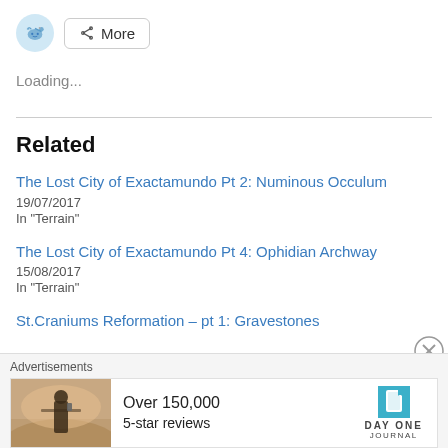[Figure (screenshot): Reddit share button and More button at top]
Loading...
Related
The Lost City of Exactamundo Pt 2: Numinous Occulum
19/07/2017
In "Terrain"
The Lost City of Exactamundo Pt 4: Ophidian Archway
15/08/2017
In "Terrain"
St.Craniums Reformation – pt 1: Gravestones
[Figure (screenshot): Advertisement banner: Over 150,000 5-star reviews — Day One Journal app ad with person photo]